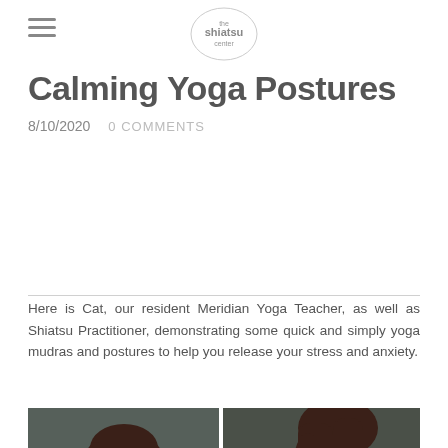the shiatsu center (logo)
Calming Yoga Postures
8/10/2020   0 COMMENTS
Here is Cat, our resident Meridian Yoga Teacher, as well as Shiatsu Practitioner, demonstrating some quick and simply yoga mudras and postures to help you release your stress and anxiety.
[Figure (photo): Two side-by-side photos of a woman in a white top: left photo shows her face and upper body against a dark background; right photo shows her hands crossed over her chest in a yoga mudra gesture.]